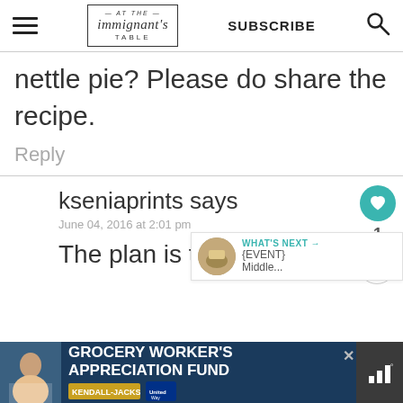At The Immigrant's Table — SUBSCRIBE
nettle pie? Please do share the recipe.
Reply
kseniaprints says
June 04, 2016 at 2:01 pm
The plan is to share it!
WHAT'S NEXT → {EVENT} Middle...
GROCERY WORKER'S APPRECIATION FUND